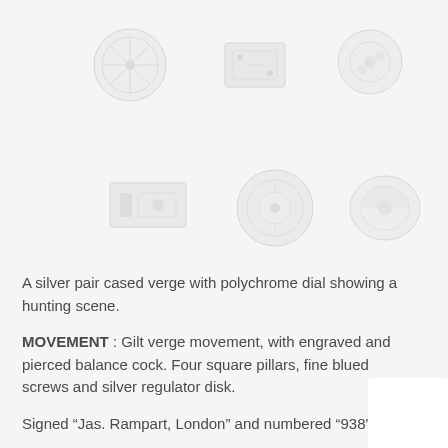[Figure (photo): Row of antique watch movement components and parts shown as faint grey circular and rectangular icons against a light background. Components include balance wheels, cocks, pillars, disks, and other horological parts arranged in two rows.]
A silver pair cased verge with polychrome dial showing a hunting scene.
MOVEMENT : Gilt verge movement, with engraved and pierced balance cock. Four square pillars, fine blued screws and silver regulator disk.
Signed “Jas. Rampart, London” and numbered “938”.